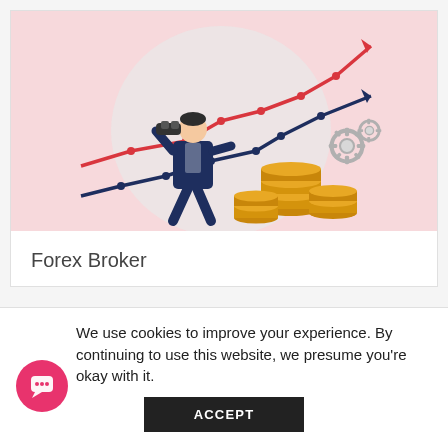[Figure (illustration): Illustration of a businessman in a dark blue suit looking through binoculars, standing beside two line charts (one red trending steeply up, one blue/dark navy trending up), with gold coins stacked nearby and grey gear icons, on a pink background with a light grey circle behind the figure.]
Forex Broker
We use cookies to improve your experience. By continuing to use this website, we presume you're okay with it.
ACCEPT